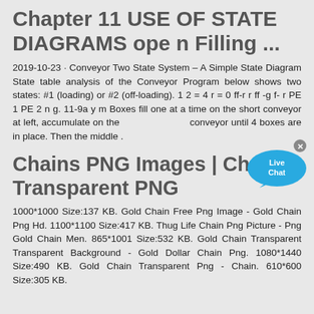Chapter 11 USE OF STATE DIAGRAMS ope n Filling ...
2019-10-23 · Conveyor Two State System – A Simple State Diagram State table analysis of the Conveyor Program below shows two states: #1 (loading) or #2 (off-loading). 1 2 = 4 r = 0 ff-r r ff -g f- r PE 1 PE 2 n g. 11-9a y m Boxes fill one at a time on the short conveyor at left, accumulate on the middle conveyor until 4 boxes are in place. Then the middle .
[Figure (other): Live Chat bubble widget overlay in bottom-right area of text section]
Chains PNG Images | Chains Transparent PNG
1000*1000 Size:137 KB. Gold Chain Free Png Image - Gold Chain Png Hd. 1100*1100 Size:417 KB. Thug Life Chain Png Picture - Png Gold Chain Men. 865*1001 Size:532 KB. Gold Chain Transparent Transparent Background - Gold Dollar Chain Png. 1080*1440 Size:490 KB. Gold Chain Transparent Png - Chain. 610*600 Size:305 KB.